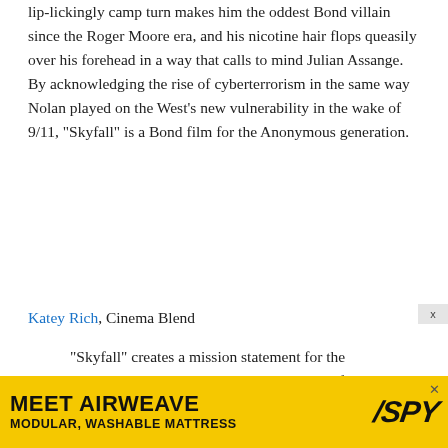lip-lickingly camp turn makes him the oddest Bond villain since the Roger Moore era, and his nicotine hair flops queasily over his forehead in a way that calls to mind Julian Assange. By acknowledging the rise of cyberterrorism in the same way Nolan played on the West's new vulnerability in the wake of 9/11, “Skyfall” is a Bond film for the Anonymous generation.
Katey Rich, Cinema Blend
“Skyfall” creates a mission statement for the character’s very existence, proving how perfectly everything we know about Bond can fit into modern times. Midway through the film he deadpans that his
[Figure (other): Advertisement banner for Airweave Modular Washable Mattress with SPY logo on yellow background]